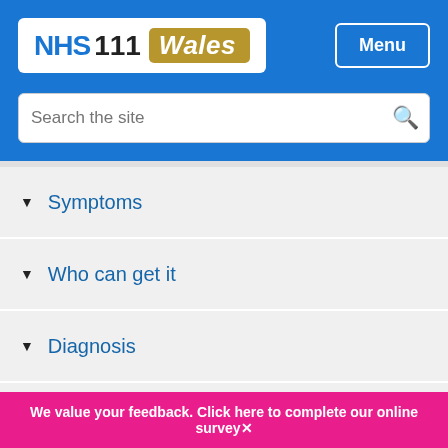[Figure (logo): NHS 111 Wales logo with blue NHS text, black 111, and gold/tan Wales badge on white background]
Menu
Search the site
Symptoms
Who can get it
Diagnosis
Treatment
Complications
Prevention
We value your feedback. Click here to complete our online survey✕